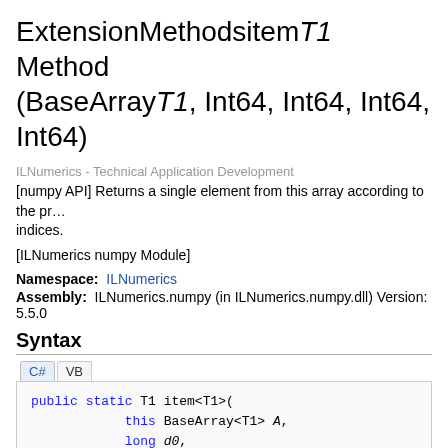ExtensionMethodsitem T1 Method (BaseArray T1, Int64, Int64, Int64, Int64)
ILNumerics - Technical Application Development
[numpy API] Returns a single element from this array according to the provided indices.
[ILNumerics numpy Module]
Namespace: ILNumerics
Assembly: ILNumerics.numpy (in ILNumerics.numpy.dll) Version: 5.5.0
Syntax
[Figure (screenshot): Code block showing C# syntax: public static T1 item<T1>( this BaseArray<T1> A, long d0, long d1, long d2, long d3 )]
Parameters
A